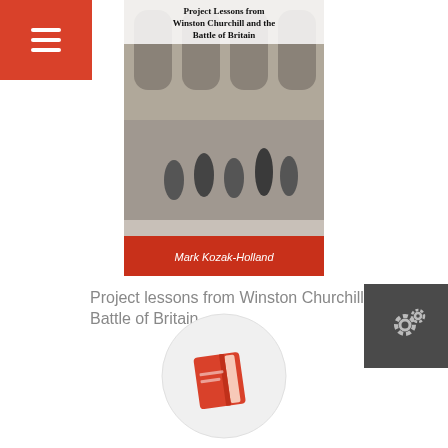[Figure (screenshot): Top-left orange hamburger menu button with three white horizontal lines]
[Figure (photo): Book cover: Project lessons from Winston Churchill and the Battle of Britain by Mark Kozak-Holland, showing black and white photo of figures in ruins of a building]
[Figure (screenshot): Top-right dark grey settings/gear button icon]
Project lessons from Winston Churchill and the Battle of Britain
READ MORE
[Figure (illustration): Light grey circle containing an orange book/notebook icon]